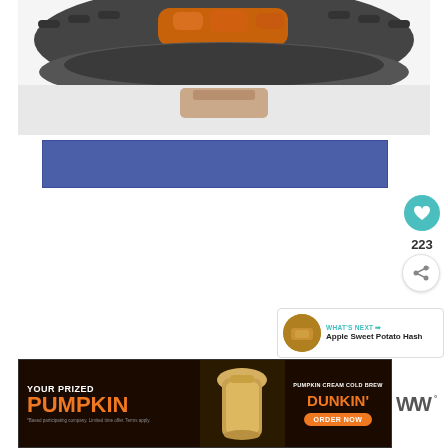[Figure (photo): Air fryer with food (sweet potato pieces) visible inside the basket, photographed from above showing the dark rim and handle]
[Figure (other): Blue rectangular banner/advertisement placeholder]
[Figure (other): Heart/like button (teal circle with heart icon), count 223, and share button on right side]
223
[Figure (other): WHAT'S NEXT arrow label with thumbnail image and text: Apple Sweet Potato Hash]
[Figure (other): Dunkin' advertisement banner: YOUR PRIZED PUMPKIN / PUMPKIN CREAM COLD BREW / DUNKIN' / ORDER NOW]
[Figure (logo): WW (Weight Watchers) logo]